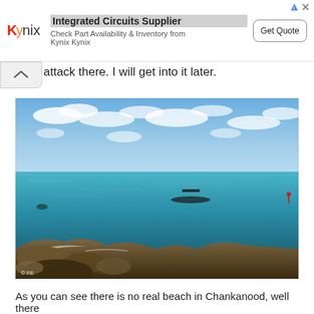[Figure (other): Kynix Integrated Circuits Supplier advertisement banner with logo, text 'Integrated Circuits Supplier', 'Check Part Availability & Inventory from Kynix Kynix', and a 'Get Quote' button]
attack there. I will get into it later.
[Figure (photo): Outdoor coastal photo showing clear turquoise/blue sea water with rocky shore in foreground, a boat floating in the distance, and partly cloudy blue sky. Copyright mark 'FE' in bottom left corner.]
As you can see there is no real beach in Chankanood, well there